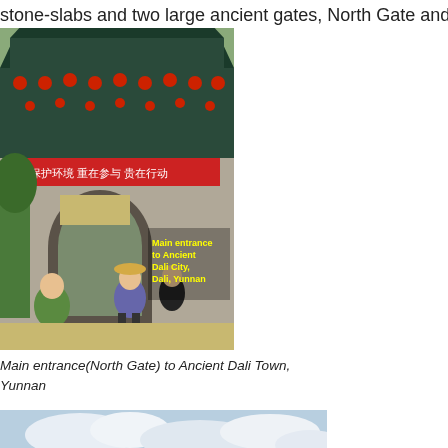stone-slabs and two large ancient gates, North Gate and South
[Figure (photo): Photo of the main entrance (North Gate) to Ancient Dali City, Dali, Yunnan, China. A traditional Chinese gate tower with red lanterns and a red banner with Chinese text. People are walking in the foreground. Yellow text overlay reads: 'Main entrance to Ancient Dali City, Dali, Yunnan']
Main entrance(North Gate) to Ancient Dali Town, Yunnan
[Figure (photo): Partial photo showing a sky with clouds and trees at the bottom, beginning of another image.]